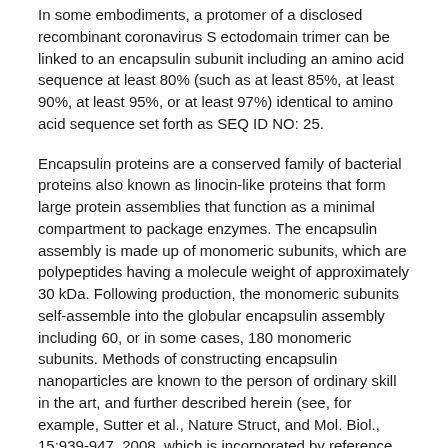In some embodiments, a protomer of a disclosed recombinant coronavirus S ectodomain trimer can be linked to an encapsulin subunit including an amino acid sequence at least 80% (such as at least 85%, at least 90%, at least 95%, or at least 97%) identical to amino acid sequence set forth as SEQ ID NO: 25.
Encapsulin proteins are a conserved family of bacterial proteins also known as linocin-like proteins that form large protein assemblies that function as a minimal compartment to package enzymes. The encapsulin assembly is made up of monomeric subunits, which are polypeptides having a molecule weight of approximately 30 kDa. Following production, the monomeric subunits self-assemble into the globular encapsulin assembly including 60, or in some cases, 180 monomeric subunits. Methods of constructing encapsulin nanoparticles are known to the person of ordinary skill in the art, and further described herein (see, for example, Sutter et al., Nature Struct, and Mol. Biol., 15:939-947, 2008, which is incorporated by reference herein in its entirety). In specific examples, the encapsulin polypeptide is bacterial encapsulin, such as Thermotoga maritime or Pyrococcus furiosus or Rhodococcus erythropolis. More commonly, the